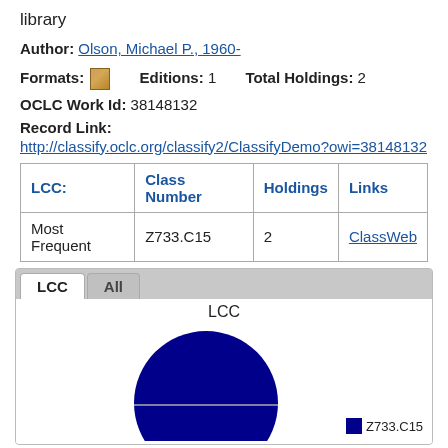library
Author: Olson, Michael P., 1960-
Formats: [icon]   Editions: 1   Total Holdings: 2
OCLC Work Id: 38148132
Record Link:
http://classify.oclc.org/classify2/ClassifyDemo?owi=38148132
| LCC: | Class Number | Holdings | Links |
| --- | --- | --- | --- |
| Most Frequent | Z733.C15 | 2 | ClassWeb |
[Figure (pie-chart): LCC]